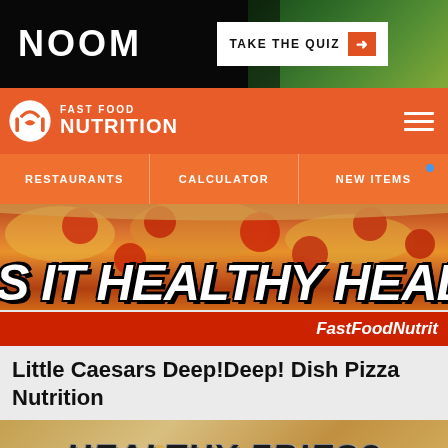[Figure (screenshot): NOOM advertisement banner with dark background and 'TAKE THE QUIZ' button with orange arrow]
FAST FOOD NUTRITION
RESTAURANTS | CALCULATOR | NEW ITEMS
[Figure (photo): Pizza hero image with text overlay reading 'S IT HEALTHY HEALTHY' and FastFoodNutrit watermark on red bar]
Little Caesars Deep!Deep! Dish Pizza Nutrition
[Figure (photo): Bottom advertisement showing 'HEALTHY FRIES?' text over golden fried food image]